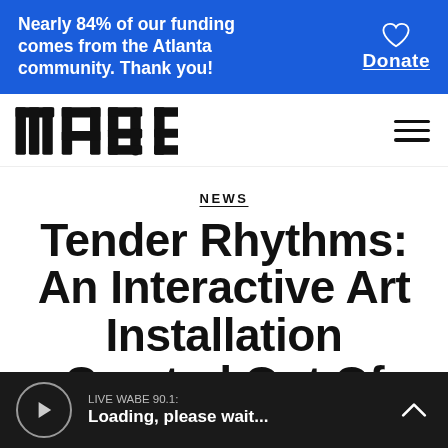Nearly 84% of our funding comes from the Atlanta community. Thank you! Donate
[Figure (logo): WABE logo in bold block letters]
NEWS
Tender Rhythms: An Interactive Art Installation Created Out Of The
LIVE WABE 90.1: Loading, please wait...